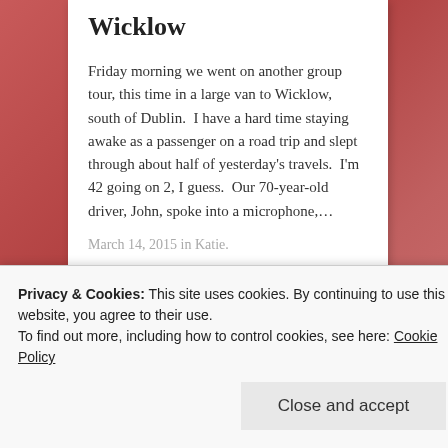Wicklow
Friday morning we went on another group tour, this time in a large van to Wicklow, south of Dublin.  I have a hard time staying awake as a passenger on a road trip and slept through about half of yesterday's travels.  I'm 42 going on 2, I guess.  Our 70-year-old driver, John, spoke into a microphone,…
March 14, 2015 in Katie.
[Figure (photo): Partial view of a photo with blue sky and reddish-orange landscape tones]
Privacy & Cookies: This site uses cookies. By continuing to use this website, you agree to their use.
To find out more, including how to control cookies, see here: Cookie Policy
Close and accept